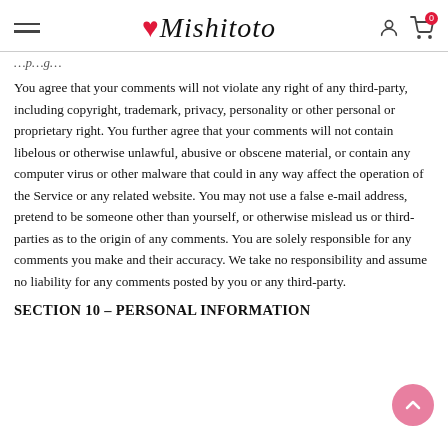Mishitoto
You agree that your comments will not violate any right of any third-party, including copyright, trademark, privacy, personality or other personal or proprietary right. You further agree that your comments will not contain libelous or otherwise unlawful, abusive or obscene material, or contain any computer virus or other malware that could in any way affect the operation of the Service or any related website. You may not use a false e-mail address, pretend to be someone other than yourself, or otherwise mislead us or third-parties as to the origin of any comments. You are solely responsible for any comments you make and their accuracy. We take no responsibility and assume no liability for any comments posted by you or any third-party.
SECTION 10 – PERSONAL INFORMATION